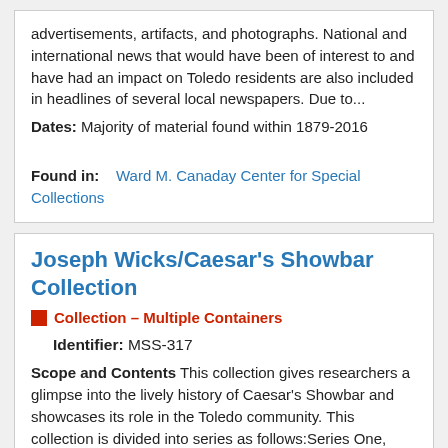advertisements, artifacts, and photographs. National and international news that would have been of interest to and have had an impact on Toledo residents are also included in headlines of several local newspapers. Due to...
Dates: Majority of material found within 1879-2016
Found in:   Ward M. Canaday Center for Special Collections
Joseph Wicks/Caesar's Showbar Collection
Collection – Multiple Containers
Identifier: MSS-317
Scope and Contents This collection gives researchers a glimpse into the lively history of Caesar's Showbar and showcases its role in the Toledo community. This collection is divided into series as follows:Series One, Artifacts, consists primarily of promotional items with the Caesar's logo such as pens, balloons, and menus. Also included are a disco ball from the bar